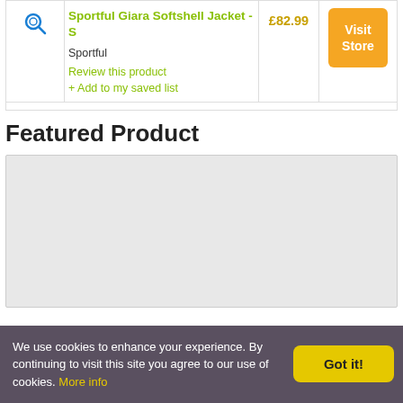Sportful Giara Softshell Jacket - S
Sportful
Review this product
+ Add to my saved list
£82.99
Visit Store
Featured Product
[Figure (photo): Featured product image placeholder (light grey box)]
We use cookies to enhance your experience. By continuing to visit this site you agree to our use of cookies. More info
Got it!